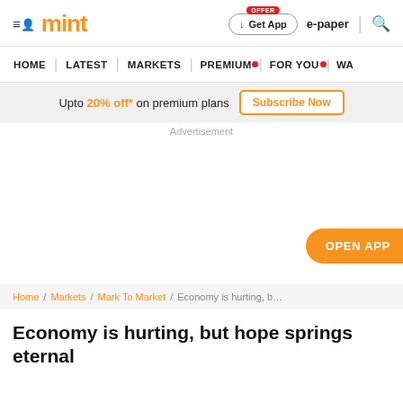mint — Get App | e-paper | search
HOME | LATEST | MARKETS | PREMIUM | FOR YOU | WA...
Upto 20% off* on premium plans  Subscribe Now
Advertisement
[Figure (other): Open App button floating on right side]
Home / Markets / Mark To Market / Economy is hurting, b...
Economy is hurting, but hope springs eternal